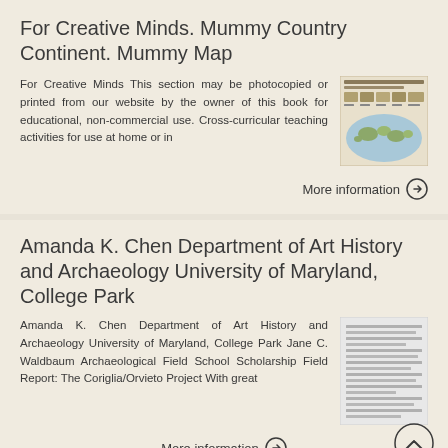For Creative Minds. Mummy Country Continent. Mummy Map
For Creative Minds This section may be photocopied or printed from our website by the owner of this book for educational, non-commercial use. Cross-curricular teaching activities for use at home or in
[Figure (map): World map thumbnail showing mummy country continent locations]
More information →
Amanda K. Chen Department of Art History and Archaeology University of Maryland, College Park
Amanda K. Chen Department of Art History and Archaeology University of Maryland, College Park Jane C. Waldbaum Archaeological Field School Scholarship Field Report: The Coriglia/Orvieto Project With great
[Figure (screenshot): Document thumbnail showing text-heavy academic report]
More information →